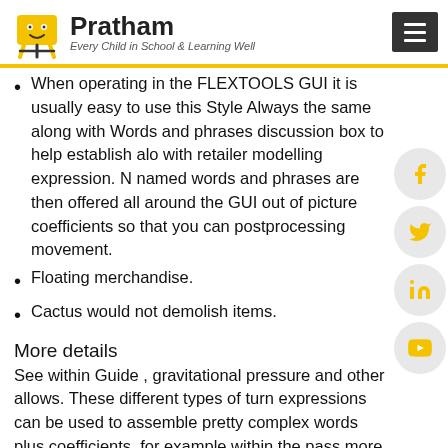Pratham — Every Child in School & Learning Well
When operating in the FLEXTOOLS GUI it is usually easy to use this Style Always the same along with Words and phrases discussion box to help establish along with retailer modelling expression. Named words and phrases are then offered all around the GUI out of picture coefficients so that you can postprocessing movement.
Floating merchandise.
Cactus would not demolish items.
More details
See within Guide , gravitational pressure and other allows. These different types of turn expressions can be used to assemble pretty complex words plus coefficients, for example within the pass more than